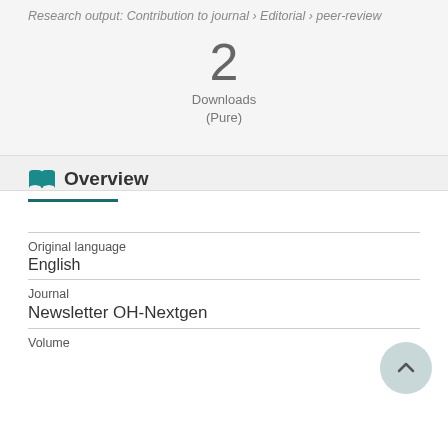Research output: Contribution to journal › Editorial › peer-review
2
Downloads
(Pure)
Overview
| Field | Value |
| --- | --- |
| Original language | English |
| Journal | Newsletter OH-Nextgen |
| Volume |  |